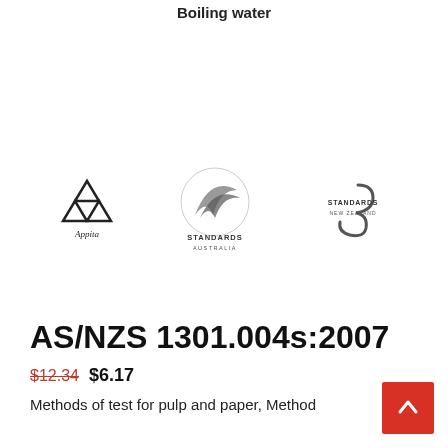Boiling water
[Figure (logo): Three logos side by side: Appita (triangular symbol with text), Standards Australia (swoosh/feather), and Standards New Zealand (stylized pen nib)]
AS/NZS 1301.004s:2007
$12.34  $6.17
Methods of test for pulp and paper, Method